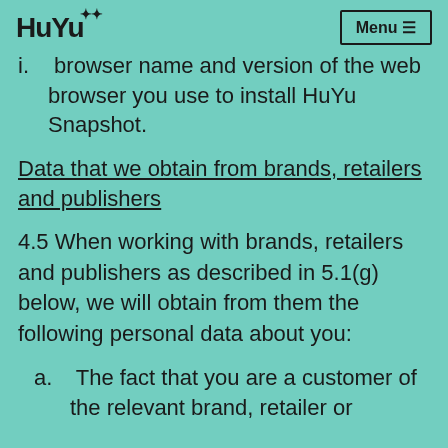HuYu  Menu
i. browser name and version of the web browser you use to install HuYu Snapshot.
Data that we obtain from brands, retailers and publishers
4.5 When working with brands, retailers and publishers as described in 5.1(g) below, we will obtain from them the following personal data about you:
a. The fact that you are a customer of the relevant brand, retailer or